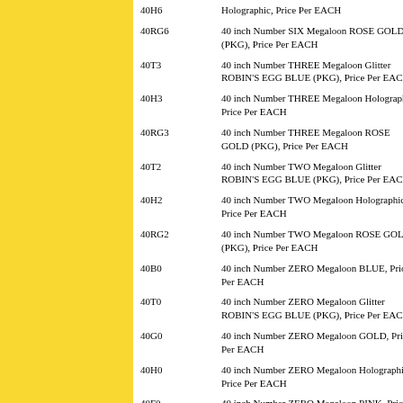| Code | Description |
| --- | --- |
| 40H6 | Holographic, Price Per EACH |
| 40RG6 | 40 inch Number SIX Megaloon ROSE GOLD (PKG), Price Per EACH |
| 40T3 | 40 inch Number THREE Megaloon Glitter ROBIN'S EGG BLUE (PKG), Price Per EACH |
| 40H3 | 40 inch Number THREE Megaloon Holographic, Price Per EACH |
| 40RG3 | 40 inch Number THREE Megaloon ROSE GOLD (PKG), Price Per EACH |
| 40T2 | 40 inch Number TWO Megaloon Glitter ROBIN'S EGG BLUE (PKG), Price Per EACH |
| 40H2 | 40 inch Number TWO Megaloon Holographic, Price Per EACH |
| 40RG2 | 40 inch Number TWO Megaloon ROSE GOLD (PKG), Price Per EACH |
| 40B0 | 40 inch Number ZERO Megaloon BLUE, Price Per EACH |
| 40T0 | 40 inch Number ZERO Megaloon Glitter ROBIN'S EGG BLUE (PKG), Price Per EACH |
| 40G0 | 40 inch Number ZERO Megaloon GOLD, Price Per EACH |
| 40H0 | 40 inch Number ZERO Megaloon Holographic, Price Per EACH |
| 40F0 | 40 inch Number ZERO Megaloon PINK, Price Per EACH |
| 40P0 | 40 inch Number ZERO Megaloon PURPLE, Price Per EACH |
| 40R0 | 40 inch Number ZERO Megaloon RED, Price Per EACH |
| 40RG0 | 40 inch Number ZERO Megaloon ROSE GOLD (PKG), Price Per EACH |
| 40S0 | 40 inch Number ZERO Megaloon SILVER, |